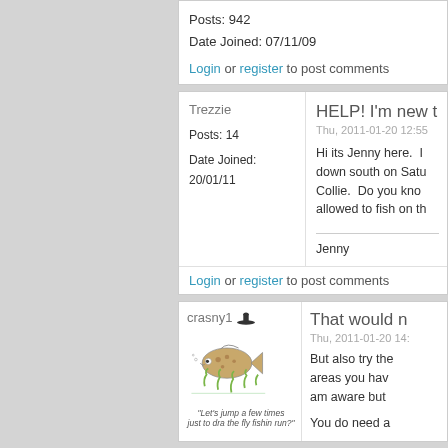Posts: 942
Date Joined: 07/11/09
Login or register to post comments
Trezzie
Posts: 14
Date Joined: 20/01/11
HELP! I'm new t
Thu, 2011-01-20 12:55
Hi its Jenny here.  I down south on Satu Collie.  Do you kno allowed to fish on th
Jenny
Login or register to post comments
crasny1
That would n
Thu, 2011-01-20 14:
But also try the areas you hav am aware but
You do need a
"Let's jump a few times just to dra the fly fishin run?"